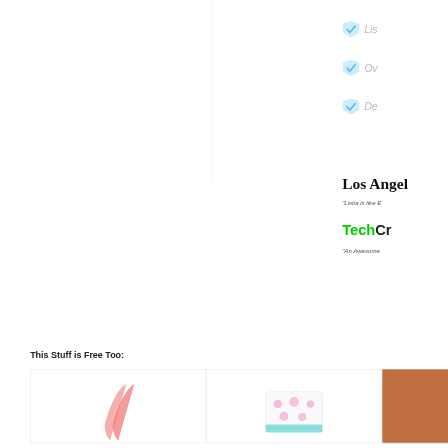Lis...
Ov...
De...
Los Angel...
"Listia is like E...
TechCr...
"An Awesome...
This Stuff is Free Too:
[Figure (photo): Pink ribbon/strap product photo]
[Figure (photo): Pink polka dot box product photo]
[Figure (photo): Third product photo partially visible]